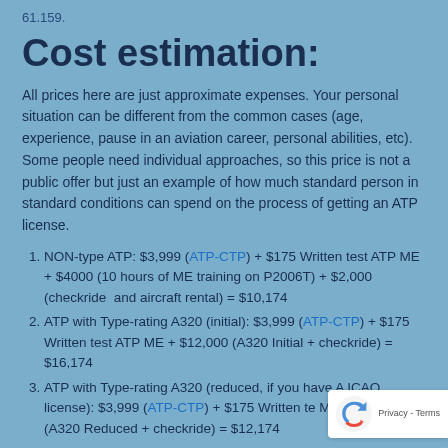61.159.
Cost estimation:
All prices here are just approximate expenses. Your personal situation can be different from the common cases (age, experience, pause in an aviation career, personal abilities, etc). Some people need individual approaches, so this price is not a public offer but just an example of how much standard person in standard conditions can spend on the process of getting an ATP license.
NON-type ATP: $3,999 (ATP-CTP) + $175 Written test ATP ME + $4000 (10 hours of ME training on P2006T) + $2,000 (checkride  and aircraft rental) = $10,174
ATP with Type-rating A320 (initial): $3,999 (ATP-CTP) + $175 Written test ATP ME + $12,000 (A320 Initial + checkride) = $16,174
ATP with Type-rating A320 (reduced, if you have A... ICAO license): $3,999 (ATP-CTP) + $175 Written te... ME + $8,000 (A320 Reduced + checkride) = $12,174